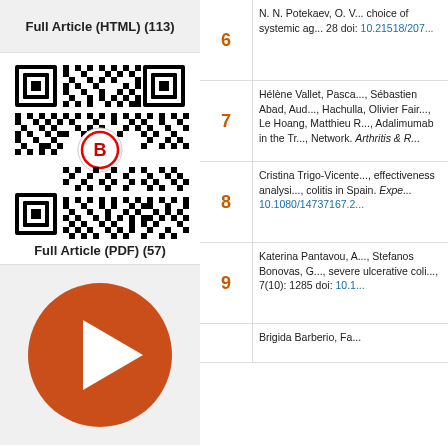Full Article (HTML) (113)
[Figure (other): QR code with Baishideng logo in center]
Full Article (PDF) (57)
[Figure (other): Orange circle with white play arrow icon]
6  N. N. Potekaev, O. V... choice of systemic ag... 28 doi: 10.21518/207...
7  Hélène Vallet, Pascal..., Sébastien Abad, Aud..., Hachulla, Olivier Fair..., Le Hoang, Matthieu R..., Adalimumab in the Tr..., Network. Arthritis & R...
8  Cristina Trigo-Vicente..., effectiveness analysi..., colitis in Spain. Expe..., 10.1080/14737167.2...
9  Katerina Pantavou, A..., Stefanos Bonovas, G..., severe ulcerative coli..., 7(10): 1285 doi: 10.1...
Brigida Barberio, Fa...